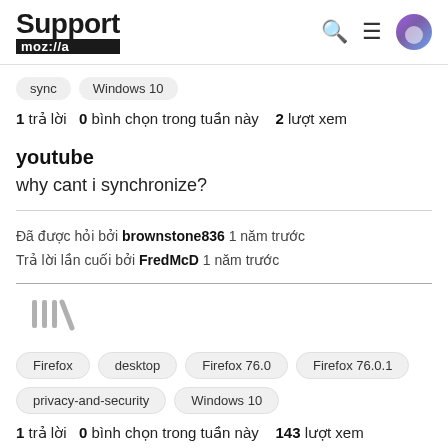Support mozilla
sync   Windows 10
1 trả lời   0  bình chọn trong tuần này   2  lượt xem
youtube
why cant i synchronize?
Đã được hỏi bởi brownstone836 1 năm trước
Trả lời lần cuối bởi FredMcD 1 năm trước
[Figure (other): Library/bookmark icon in grey]
Firefox   desktop   Firefox 76.0   Firefox 76.0.1   privacy-and-security   Windows 10
1 trả lời   0  bình chọn trong tuần này   143  lượt xem